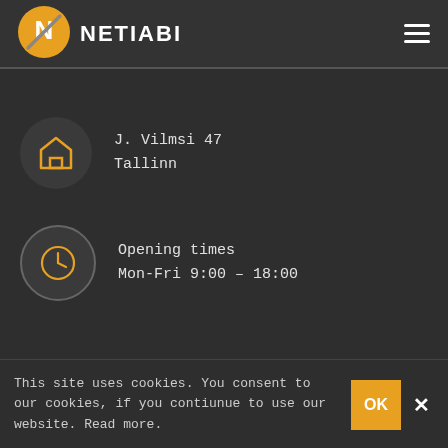[Figure (logo): Netiabi logo: orange circle with white N and diagonal line, followed by bold white text NETIABI]
J. Vilmsi 47
Tallinn
Opening times
Mon-Fri 9:00 - 18:00
This site uses cookies. You consent to our cookies, if you contiunue to use our website. Read more.